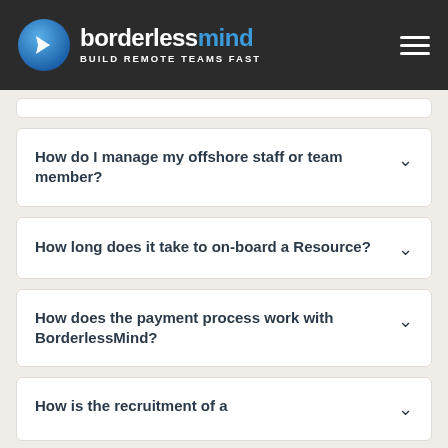borderlessmind BUILD REMOTE TEAMS FAST
How do I manage my offshore staff or team member?
How long does it take to on-board a Resource?
How does the payment process work with BorderlessMind?
How is the recruitment of a